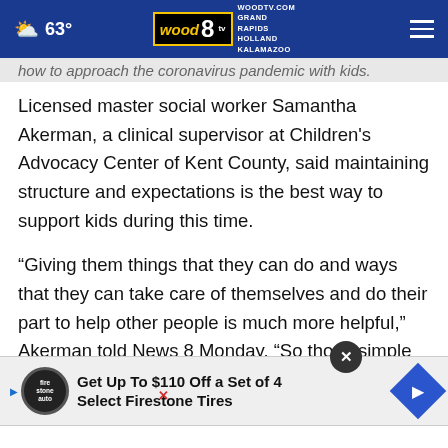63° WOODTV.COM GRAND RAPIDS HOLLAND KALAMAZOO
how to approach the coronavirus pandemic with kids.
Licensed master social worker Samantha Akerman, a clinical supervisor at Children's Advocacy Center of Kent County, said maintaining structure and expectations is the best way to support kids during this time.
“Giving them things that they can do and ways that they can take care of themselves and do their part to help other people is much more helpful,” Akerman told News 8 Monday. “So those simple things that we've heard... keeping that structure in place.